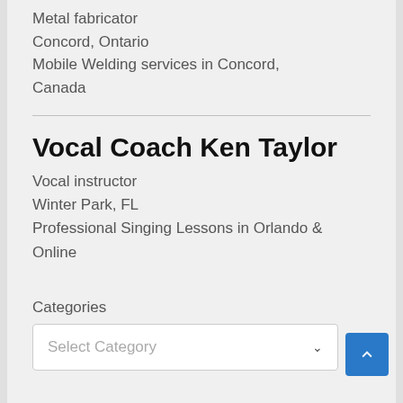Metal fabricator
Concord, Ontario
Mobile Welding services in Concord, Canada
Vocal Coach Ken Taylor
Vocal instructor
Winter Park, FL
Professional Singing Lessons in Orlando & Online
Categories
Select Category